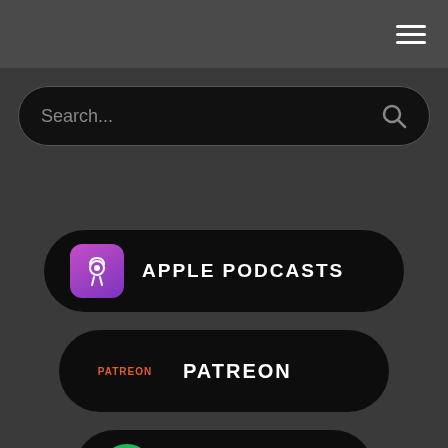[Figure (screenshot): Top navigation bar with hamburger menu icon (three horizontal lines) on dark gray background]
Search...
[Figure (infographic): Dark rounded button with Apple Podcasts purple icon and text APPLE PODCASTS]
[Figure (infographic): Dark rounded button with Patreon logo and text PATREON]
[Figure (infographic): Dark rounded button with Spotify green icon and text SPOTIFY]